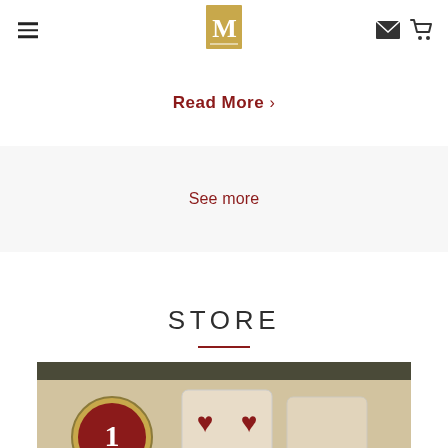Navigation bar with hamburger menu, M logo, envelope icon, and cart icon
Read More >
See more
STORE
[Figure (photo): Vintage playing card style product image showing cards with hearts suit and a circular badge with the number 1, on an aged parchment background]